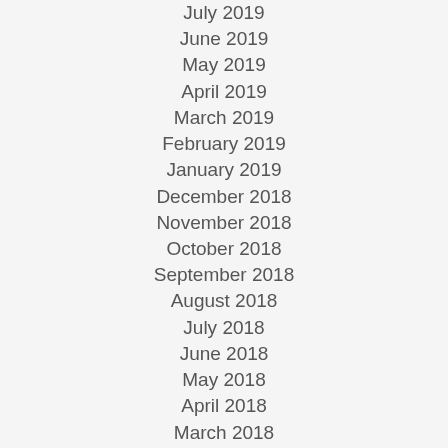July 2019
June 2019
May 2019
April 2019
March 2019
February 2019
January 2019
December 2018
November 2018
October 2018
September 2018
August 2018
July 2018
June 2018
May 2018
April 2018
March 2018
February 2018
January 2018
December 2017
November 2017